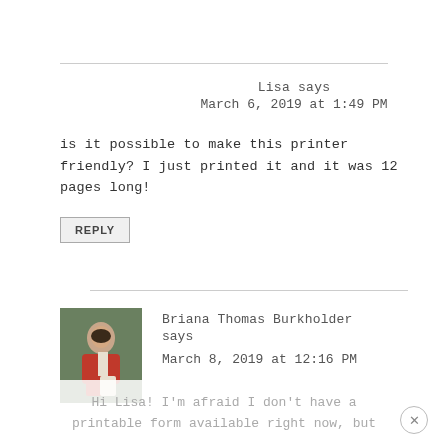Lisa says
March 6, 2019 at 1:49 PM
is it possible to make this printer friendly? I just printed it and it was 12 pages long!
REPLY
[Figure (photo): Avatar photo of Briana Thomas Burkholder, a couple posing outdoors]
Briana Thomas Burkholder says
March 8, 2019 at 12:16 PM
Hi Lisa! I'm afraid I don't have a printable form available right now, but